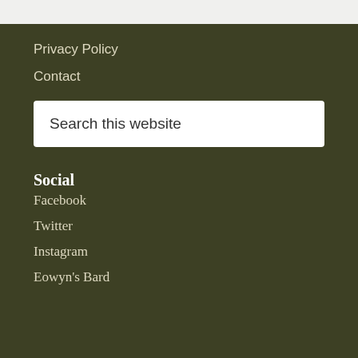Privacy Policy
Contact
Search this website
Social
Facebook
Twitter
Instagram
Eowyn's Bard